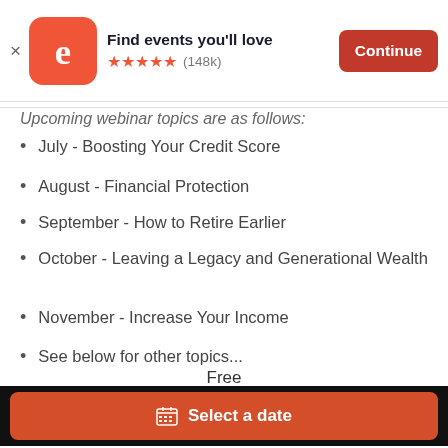[Figure (screenshot): Eventbrite app banner with logo, 'Find events you'll love', 5-star rating (148k reviews), and orange Continue button]
Upcoming webinar topics are as follows:
July - Boosting Your Credit Score
August - Financial Protection
September - How to Retire Earlier
October - Leaving a Legacy and Generational Wealth
November - Increase Your Income
See below for other topics...
[Figure (illustration): Black banner with gold italic text 'Webinar Financial Focus' and a gold crown/W logo on the right]
Free
[Figure (screenshot): Orange 'Select a date' button with calendar icon]